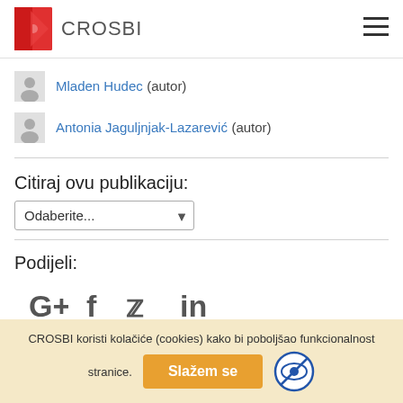CROSBI
Mladen Hudec (autor)
Antonia Jaguljnjak-Lazarević (autor)
Citiraj ovu publikaciju:
Odaberite...
Podijeli:
[Figure (other): Social media share icons: Google+, Facebook, Twitter, LinkedIn]
CROSBI koristi kolačiće (cookies) kako bi poboljšao funkcionalnost stranice. Slažem se